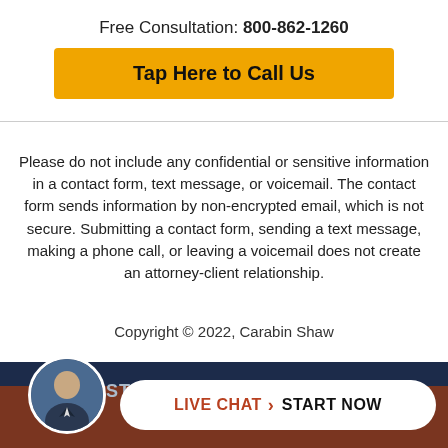Free Consultation: 800-862-1260
Tap Here to Call Us
Please do not include any confidential or sensitive information in a contact form, text message, or voicemail. The contact form sends information by non-encrypted email, which is not secure. Submitting a contact form, sending a text message, making a phone call, or leaving a voicemail does not create an attorney-client relationship.
Copyright © 2022, Carabin Shaw
[Figure (infographic): Dark navy and rust-colored bottom bar with circular avatar photo of a man in a suit on the left, and a white pill-shaped button reading LIVE CHAT > START NOW on the right]